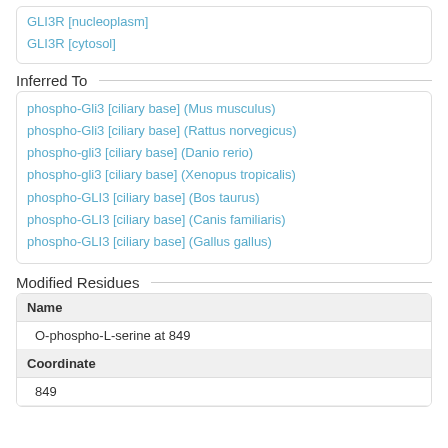GLI3R [nucleoplasm]
GLI3R [cytosol]
Inferred To
phospho-Gli3 [ciliary base] (Mus musculus)
phospho-Gli3 [ciliary base] (Rattus norvegicus)
phospho-gli3 [ciliary base] (Danio rerio)
phospho-gli3 [ciliary base] (Xenopus tropicalis)
phospho-GLI3 [ciliary base] (Bos taurus)
phospho-GLI3 [ciliary base] (Canis familiaris)
phospho-GLI3 [ciliary base] (Gallus gallus)
Modified Residues
| Name |
| --- |
| O-phospho-L-serine at 849 |
| Coordinate |
| 849 |